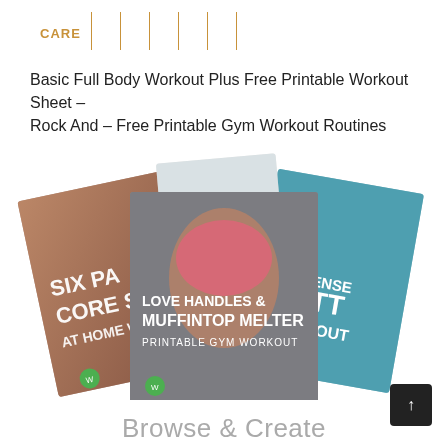CARE (logo with navigation lines)
Basic Full Body Workout Plus Free Printable Workout Sheet – Rock And – Free Printable Gym Workout Routines
[Figure (illustration): Three overlapping fitness workout booklet covers: left shows 'SIX PA... CORE S... AT HOME W...' on a brown background with abs photo; center shows 'LOVE HANDLES & MUFFINTOP MELTER PRINTABLE GYM WORKOUT' on grey with woman in pink sports top; right shows 'S INTENSE BUTT WORKOUT' on blue with woman's back in swimwear]
Browse & Create